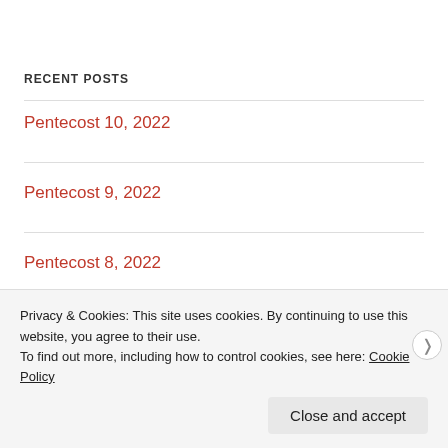RECENT POSTS
Pentecost 10, 2022
Pentecost 9, 2022
Pentecost 8, 2022
A Priestly Word  Baseball  Brandon Belt  Brandon Crawford
Privacy & Cookies: This site uses cookies. By continuing to use this website, you agree to their use. To find out more, including how to control cookies, see here: Cookie Policy
Close and accept